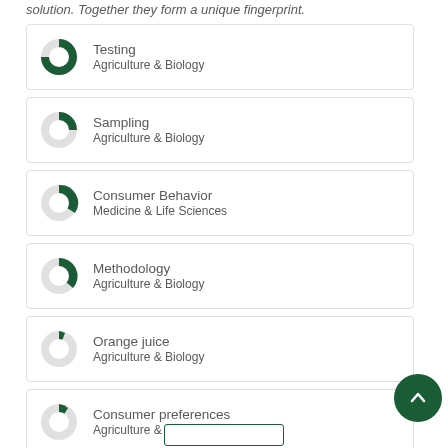solution. Together they form a unique fingerprint.
Testing — Agriculture & Biology
Sampling — Agriculture & Biology
Consumer Behavior — Medicine & Life Sciences
Methodology — Agriculture & Biology
Orange juice — Agriculture & Biology
Consumer preferences — Agriculture & Biology